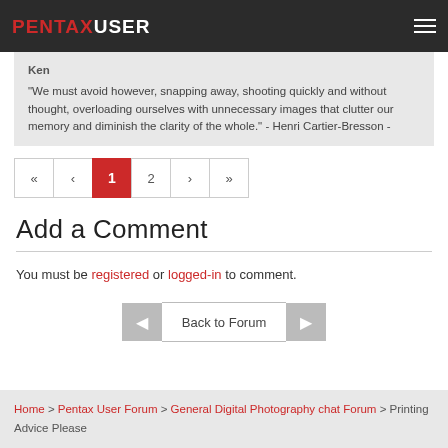PENTAXUSER
Ken
"We must avoid however, snapping away, shooting quickly and without thought, overloading ourselves with unnecessary images that clutter our memory and diminish the clarity of the whole." - Henri Cartier-Bresson -
« ‹ 1 2 › »
Add a Comment
You must be registered or logged-in to comment.
Back to Forum
Home > Pentax User Forum > General Digital Photography chat Forum > Printing Advice Please